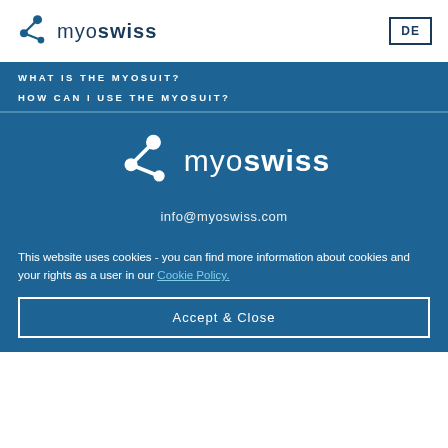[Figure (logo): myoswiss logo with icon in header]
DE
WHAT IS THE MYOSUIT?
HOW CAN I USE THE MYOSUIT?
[Figure (logo): myoswiss logo centered on blue background]
info@myoswiss.com
This website uses cookies - you can find more information about cookies and your rights as a user in our Cookie Policy.
Accept & Close